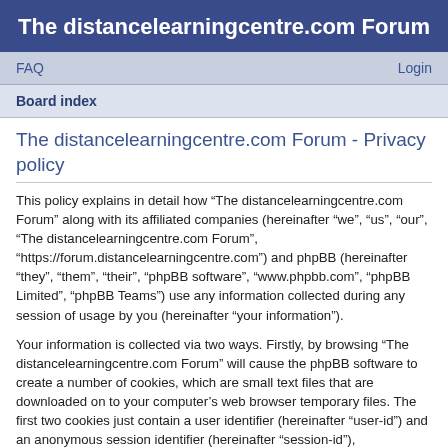The distancelearningcentre.com Forum
FAQ    Login
Board index
The distancelearningcentre.com Forum - Privacy policy
This policy explains in detail how “The distancelearningcentre.com Forum” along with its affiliated companies (hereinafter “we”, “us”, “our”, “The distancelearningcentre.com Forum”, “https://forum.distancelearningcentre.com”) and phpBB (hereinafter “they”, “them”, “their”, “phpBB software”, “www.phpbb.com”, “phpBB Limited”, “phpBB Teams”) use any information collected during any session of usage by you (hereinafter “your information”).
Your information is collected via two ways. Firstly, by browsing “The distancelearningcentre.com Forum” will cause the phpBB software to create a number of cookies, which are small text files that are downloaded on to your computer’s web browser temporary files. The first two cookies just contain a user identifier (hereinafter “user-id”) and an anonymous session identifier (hereinafter “session-id”), automatically assigned to you by the phpBB software. A third cookie will be created once you have browsed topics within “The distancelearningcentre.com Forum” and is used to store which topics have been read, thereby improving your user experience.
We may also create cookies external to the phpBB software whilst browsing